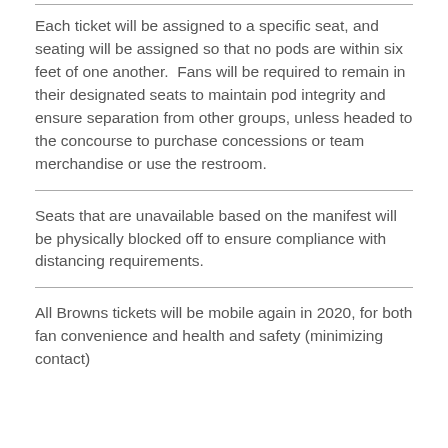Each ticket will be assigned to a specific seat, and seating will be assigned so that no pods are within six feet of one another. Fans will be required to remain in their designated seats to maintain pod integrity and ensure separation from other groups, unless headed to the concourse to purchase concessions or team merchandise or use the restroom.
Seats that are unavailable based on the manifest will be physically blocked off to ensure compliance with distancing requirements.
All Browns tickets will be mobile again in 2020, for both fan convenience and health and safety (minimizing contact)